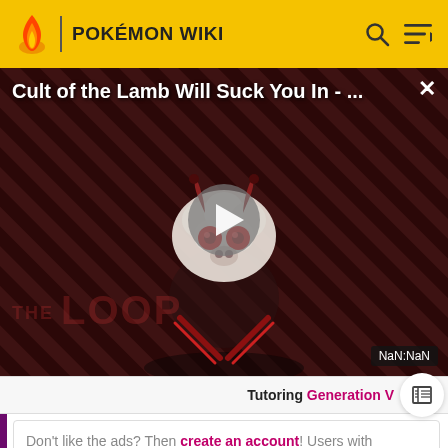POKÉMON WIKI
[Figure (screenshot): Video player overlay showing 'Cult of the Lamb Will Suck You In - ...' with a cartoon lamb character, THE LOOP watermark, play button, and NaN:NaN timer badge]
Tutoring Generation V
Don't like the ads? Then create an account! Users with
READ MORE